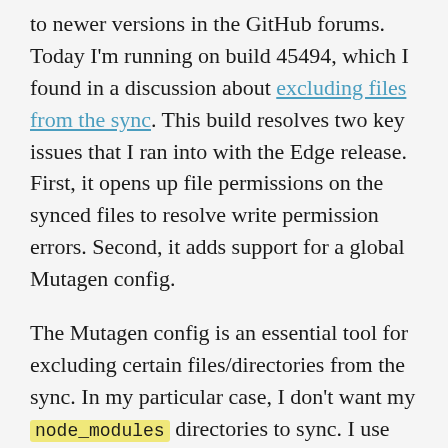to newer versions in the GitHub forums. Today I'm running on build 45494, which I found in a discussion about excluding files from the sync. This build resolves two key issues that I ran into with the Edge release. First, it opens up file permissions on the synced files to resolve write permission errors. Second, it adds support for a global Mutagen config.
The Mutagen config is an essential tool for excluding certain files/directories from the sync. In my particular case, I don't want my node_modules directories to sync. I use nvm and run my node commands on my host machine. Excluding these directories can cut a large chunk off of the synchronization time. So I